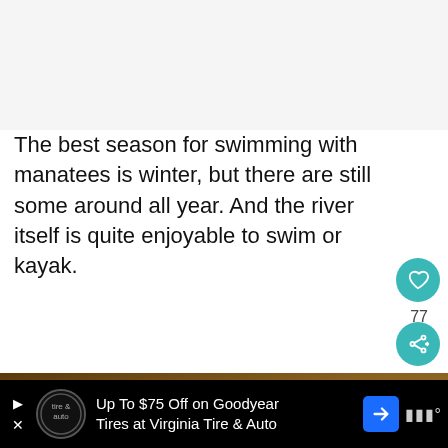The best season for swimming with manatees is winter, but there are still some around all year. And the river itself is quite enjoyable to swim or kayak.
[Figure (photo): A knitted/crocheted green manatee toy resting on rocks with brown stone background.]
WHAT'S NEXT → Top 10 Places to Visit in...
Up To $75 Off on Goodyear Tires at Virginia Tire & Auto